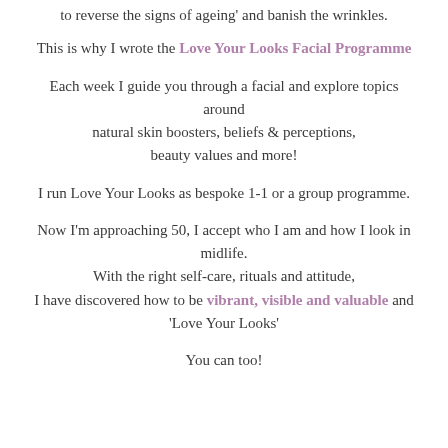to reverse the signs of ageing' and banish the wrinkles.
This is why I wrote the Love Your Looks Facial Programme
Each week I guide you through a facial and explore topics around natural skin boosters, beliefs & perceptions, beauty values and more!
I run Love Your Looks as bespoke 1-1 or a group programme.
Now I'm approaching 50, I accept who I am and how I look in midlife. With the right self-care, rituals and attitude, I have discovered how to be vibrant, visible and valuable and 'Love Your Looks'
You can too!